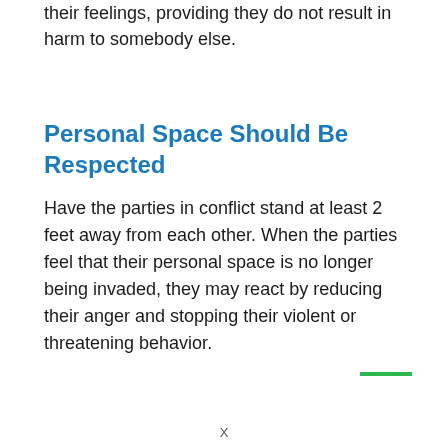their feelings, providing they do not result in harm to somebody else.
Personal Space Should Be Respected
Have the parties in conflict stand at least 2 feet away from each other. When the parties feel that their personal space is no longer being invaded, they may react by reducing their anger and stopping their violent or threatening behavior.
X